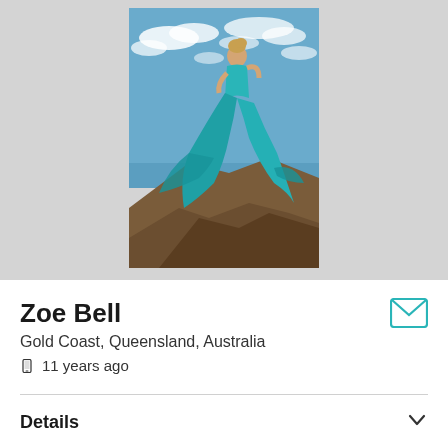[Figure (photo): Profile photo of Zoe Bell — a woman in a flowing teal/turquoise dress standing on rocky coastal terrain against a blue sky with white clouds]
Zoe Bell
Gold Coast, Queensland, Australia
11 years ago
Details